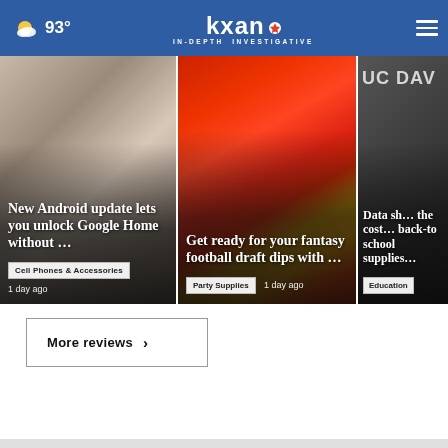KXAN IN-DEPTH INVESTIGATIVE | 93°
[Figure (screenshot): News card: New Android update lets you unlock Google Home without ... Category: Cell Phones & Accessories, 1 day ago]
[Figure (screenshot): News card: Get ready for your fantasy football draft dips with ... Category: Party Supplies, 1 day ago]
[Figure (screenshot): News card: Data sh... the cost... back-to school supplies... Category: Education]
More reviews ›